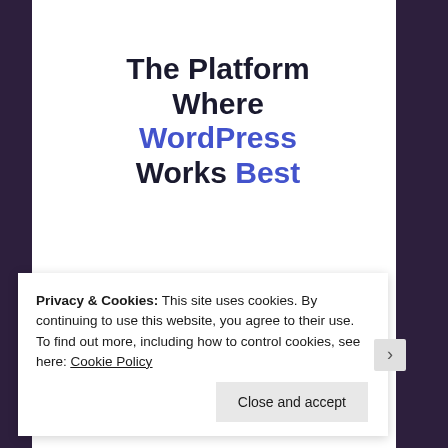The Platform Where WordPress Works Best
[Figure (screenshot): A blue 'SEE PRICING' button on a white background]
Privacy & Cookies: This site uses cookies. By continuing to use this website, you agree to their use.
To find out more, including how to control cookies, see here: Cookie Policy
Close and accept